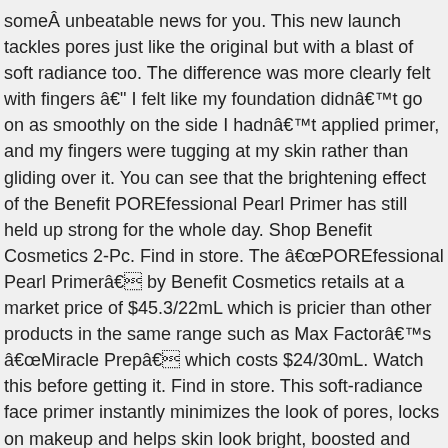someÂ unbeatable news for you. This new launch tackles pores just like the original but with a blast of soft radiance too. The difference was more clearly felt with fingers â€" I felt like my foundation didnâ€™t go on as smoothly on the side I hadnâ€™t applied primer, and my fingers were tugging at my skin rather than gliding over it. You can see that the brightening effect of the Benefit POREfessional Pearl Primer has still held up strong for the whole day. Shop Benefit Cosmetics 2-Pc. Find in store. The â€œPOREfessional Pearl Primerâ€ by Benefit Cosmetics retails at a market price of $45.3/22mL which is pricier than other products in the same range such as Max Factorâ€™s â€œMiracle Prepâ€ which costs $24/30mL. Watch this before getting it. Find in store. This soft-radiance face primer instantly minimizes the look of pores, locks on makeup and helps skin look bright, boosted and awake. The Benefit POREfessional Primer is not a cult classic for no reason, and the pore-smoothing formula was just what my acne scars and enlarged pores needed. The balmy texture evens out the appearance of fine